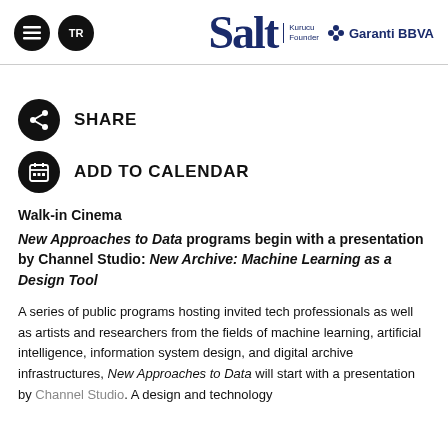Salt — Kurucu Founder | Garanti BBVA
SHARE
ADD TO CALENDAR
Walk-in Cinema
New Approaches to Data programs begin with a presentation by Channel Studio: New Archive: Machine Learning as a Design Tool
A series of public programs hosting invited tech professionals as well as artists and researchers from the fields of machine learning, artificial intelligence, information system design, and digital archive infrastructures, New Approaches to Data will start with a presentation by Channel Studio. A design and technology